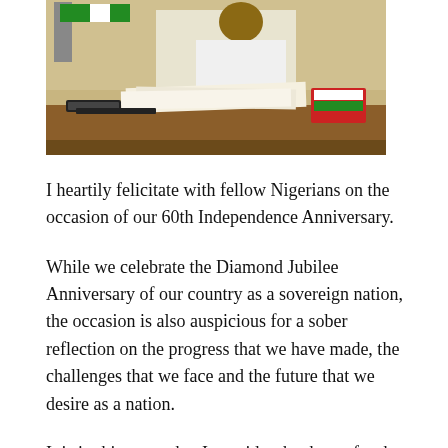[Figure (photo): A person seated at a desk covered with papers and documents, with a Nigerian flag visible in the background and office items on the desk including a phone and books.]
I heartily felicitate with fellow Nigerians on the occasion of our 60th Independence Anniversary.
While we celebrate the Diamond Jubilee Anniversary of our country as a sovereign nation, the occasion is also auspicious for a sober reflection on the progress that we have made, the challenges that we face and the future that we desire as a nation.
It is in this sense that I consider the theme for the 60th Independence anniversary, “Together”, as apt.
Indeed, patriotic Nigerians have ample reasons to celebrate